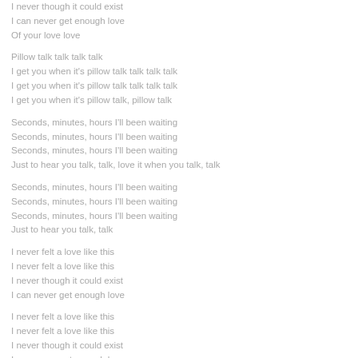I never though it could exist
I can never get enough love
Of your love love
Pillow talk talk talk talk
I get you when it's pillow talk talk talk talk
I get you when it's pillow talk talk talk talk
I get you when it's pillow talk, pillow talk
Seconds, minutes, hours I'll been waiting
Seconds, minutes, hours I'll been waiting
Seconds, minutes, hours I'll been waiting
Just to hear you talk, talk, love it when you talk, talk
Seconds, minutes, hours I'll been waiting
Seconds, minutes, hours I'll been waiting
Seconds, minutes, hours I'll been waiting
Just to hear you talk, talk
I never felt a love like this
I never felt a love like this
I never though it could exist
I can never get enough love
I never felt a love like this
I never felt a love like this
I never though it could exist
I can never get enough love
Of your love love
Pillow talk talk talk talk
I get you when it's pillow talk talk talk talk
I get you when it's pillow talk talk talk talk